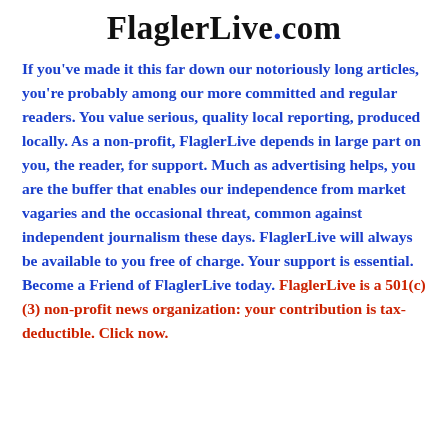FlaglerLive.com
If you've made it this far down our notoriously long articles, you're probably among our more committed and regular readers. You value serious, quality local reporting, produced locally. As a non-profit, FlaglerLive depends in large part on you, the reader, for support. Much as advertising helps, you are the buffer that enables our independence from market vagaries and the occasional threat, common against independent journalism these days. FlaglerLive will always be available to you free of charge. Your support is essential. Become a Friend of FlaglerLive today. FlaglerLive is a 501(c)(3) non-profit news organization: your contribution is tax-deductible. Click now.